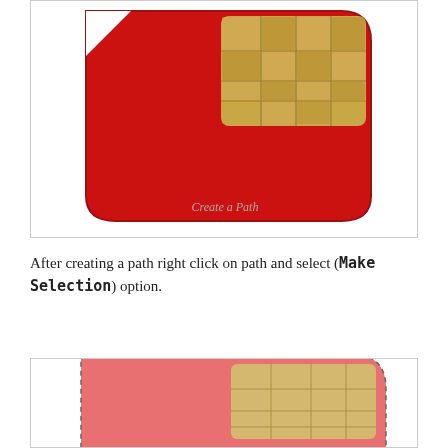[Figure (illustration): A red SIM card with a gold chip in the upper right area. The card has rounded corners and a beveled top-left corner. The chip shows a grid of rectangular contacts.]
Create a Path
After creating a path right click on path and select (Make Selection) option.
[Figure (illustration): A salmon/coral colored SIM card with a gold chip, shown with a dashed selection border indicating a Photoshop selection. The card appears selected.]